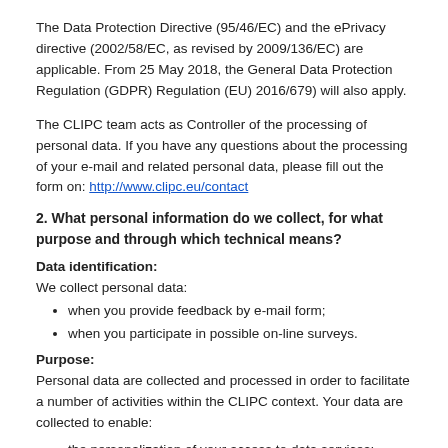The Data Protection Directive (95/46/EC) and the ePrivacy directive (2002/58/EC, as revised by 2009/136/EC) are applicable. From 25 May 2018, the General Data Protection Regulation (GDPR) Regulation (EU) 2016/679) will also apply.
The CLIPC team acts as Controller of the processing of personal data. If you have any questions about the processing of your e-mail and related personal data, please fill out the form on: http://www.clipc.eu/contact
2. What personal information do we collect, for what purpose and through which technical means?
Data identification:
We collect personal data:
when you provide feedback by e-mail form;
when you participate in possible on-line surveys.
Purpose:
Personal data are collected and processed in order to facilitate a number of activities within the CLIPC context. Your data are collected to enable:
the personalization of your access to data services;
to enable the CLIPC team to answer your enquiries and give you information concerning new developments and the use of the